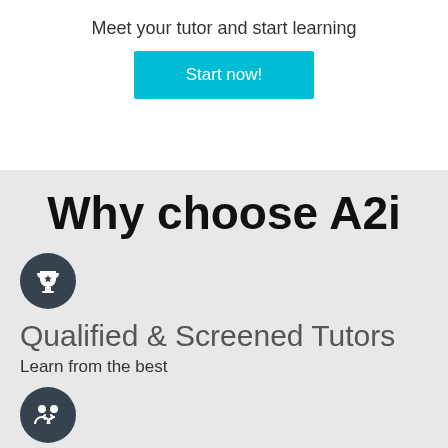Meet your tutor and start learning
[Figure (other): Start now! button in cyan/turquoise color]
Why choose A2i
[Figure (illustration): Trophy/award icon in dark circle]
Qualified & Screened Tutors
Learn from the best
[Figure (illustration): People/community icon in dark circle]